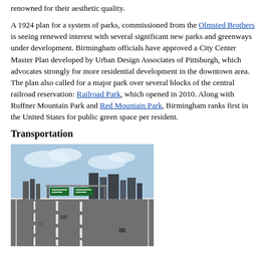renowned for their aesthetic quality.
A 1924 plan for a system of parks, commissioned from the Olmsted Brothers is seeing renewed interest with several significant new parks and greenways under development. Birmingham officials have approved a City Center Master Plan developed by Urban Design Associates of Pittsburgh, which advocates strongly for more residential development in the downtown area. The plan also called for a major park over several blocks of the central railroad reservation: Railroad Park, which opened in 2010. Along with Ruffner Mountain Park and Red Mountain Park, Birmingham ranks first in the United States for public green space per resident.
Transportation
[Figure (photo): Highway leading into downtown Birmingham, Alabama, with city skyline in background and highway signs overhead.]